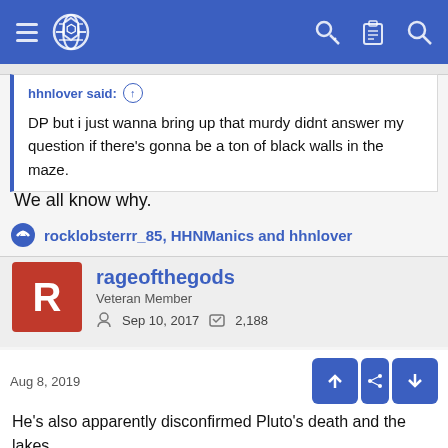[Figure (screenshot): Mobile forum app navigation bar with hamburger menu, globe icon, key icon, clipboard icon, and search icon on blue background]
hhnlover said: ↑
DP but i just wanna bring up that murdy didnt answer my question if there's gonna be a ton of black walls in the maze.
We all know why.
rocklobsterrr_85, HHNManics and hhnlover
rageofthegods
Veteran Member
Sep 10, 2017   2,188
Aug 8, 2019
He's also apparently disconfirmed Pluto's death and the lakes, which...fine, makes sense I guess.
wrt Black Walls, answering either yes or giving a sarcastic non-